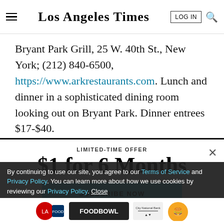Los Angeles Times
Bryant Park Grill, 25 W. 40th St., New York; (212) 840-6500, https://www.arkrestaurants.com. Lunch and dinner in a sophisticated dining room looking out on Bryant Park. Dinner entrees $17-$40.
LIMITED-TIME OFFER
$1 for 6 Months
SUBSCRIBE NOW
By continuing to use our site, you agree to our Terms of Service and Privacy Policy. You can learn more about how we use cookies by reviewing our Privacy Policy. Close